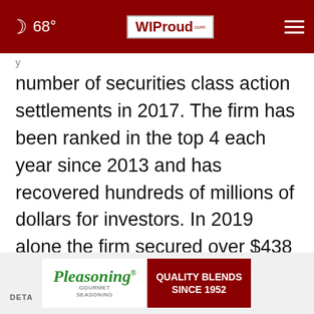68° WI Proud
number of securities class action settlements in 2017. The firm has been ranked in the top 4 each year since 2013 and has recovered hundreds of millions of dollars for investors. In 2019 alone the firm secured over $438 million for investors. In 2020, founding partner Laurence Rosen was named by law360 as a Titan of Plaintiffs' Bar. Many of the firm's attorneys have been recognized by Lawdragon and Super Lawyers.
[Figure (other): Pleasoning Gourmet Seasoning advertisement banner with green cursive logo and red 'Quality Blends Since 1952' box]